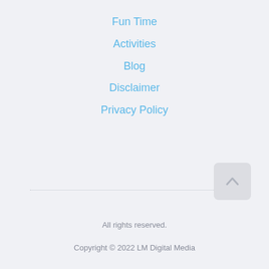Fun Time
Activities
Blog
Disclaimer
Privacy Policy
[Figure (illustration): Back to top button — a rounded rectangle with an upward-pointing chevron arrow icon]
All rights reserved.
Copyright © 2022 LM Digital Media